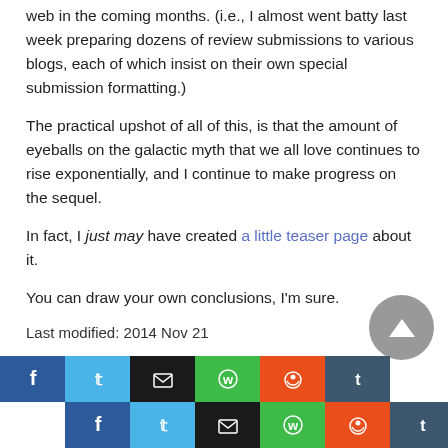web in the coming months. (i.e., I almost went batty last week preparing dozens of review submissions to various blogs, each of which insist on their own special submission formatting.)
The practical upshot of all of this, is that the amount of eyeballs on the galactic myth that we all love continues to rise exponentially, and I continue to make progress on the sequel.
In fact, I just may have created a little teaser page about it.
You can draw your own conclusions, I'm sure.
Last modified: 2014 Nov 21
[Figure (other): Social share buttons row 1: Facebook, Twitter, Email, WhatsApp, Reddit, Tumblr]
[Figure (other): Social share buttons row 2: Facebook, Twitter, Email, WhatsApp, Reddit, Tumblr]